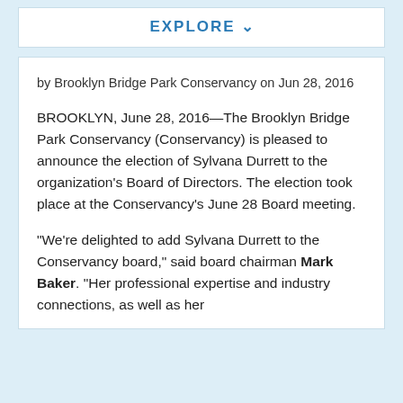EXPLORE
by Brooklyn Bridge Park Conservancy on Jun 28, 2016
BROOKLYN, June 28, 2016—The Brooklyn Bridge Park Conservancy (Conservancy) is pleased to announce the election of Sylvana Durrett to the organization's Board of Directors. The election took place at the Conservancy's June 28 Board meeting.
“We’re delighted to add Sylvana Durrett to the Conservancy board,” said board chairman Mark Baker. “Her professional expertise and industry connections, as well as her